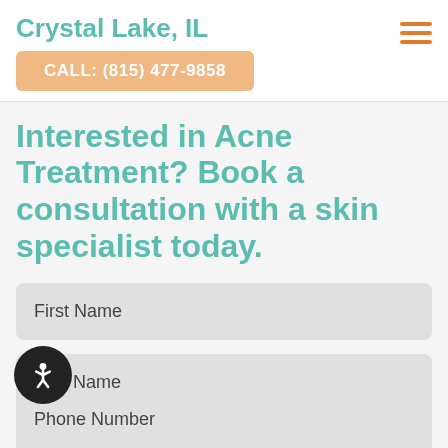Crystal Lake, IL
CALL: (815) 477-9858
Interested in Acne Treatment? Book a consultation with a skin specialist today.
First Name
Last Name
Email Address
Phone Number